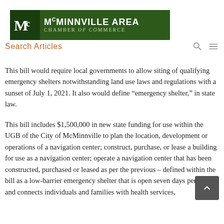[Figure (logo): McMinnville Area Chamber of Commerce logo with green banner and stylized 'Mc' monogram on dark green background]
Search Articles
This bill would require local governments to allow siting of qualifying emergency shelters notwithstanding land use laws and regulations with a sunset of July 1, 2021. It also would define “emergency shelter,” in state law.
This bill includes $1,500,000 in new state funding for use within the UGB of the City of McMinnville to plan the location, development or operations of a navigation center; construct, purchase, or lease a building for use as a navigation center; operate a navigation center that has been constructed, purchased or leased as per the previous – defined within the bill as a low-barrier emergency shelter that is open seven days per week and connects individuals and families with health services,